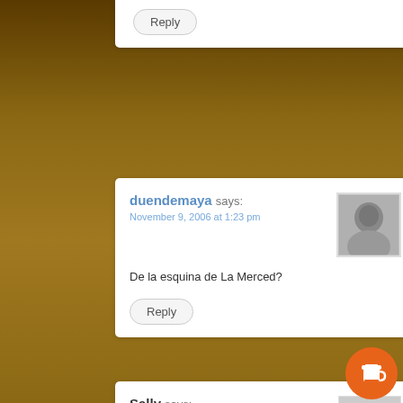Reply
duendemaya says:
November 9, 2006 at 1:23 pm
De la esquina de La Merced?
Reply
Sally says:
November 9, 2006 at 8:45 pm
Thank you for visiting. You can now buy me a coffee!